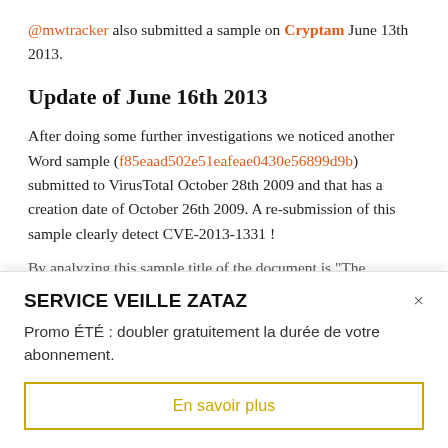@mwtracker also submitted a sample on Cryptam June 13th 2013.
Update of June 16th 2013
After doing some further investigations we noticed another Word sample (f85eaad502e51eafeae0430e56899d9b) submitted to VirusTotal October 28th 2009 and that has a creation date of October 26th 2009. A re-submission of this sample clearly detect CVE-2013-1331 !
By analyzing this sample title of the document is “The
SERVICE VEILLE ZATAZ
Promo ÉTÉ : doubler gratuitement la durée de votre abonnement.
En savoir plus